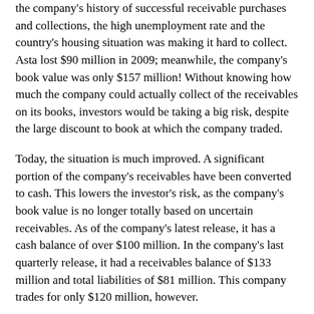the company's history of successful receivable purchases and collections, the high unemployment rate and the country's housing situation was making it hard to collect. Asta lost $90 million in 2009; meanwhile, the company's book value was only $157 million! Without knowing how much the company could actually collect of the receivables on its books, investors would be taking a big risk, despite the large discount to book at which the company traded.
Today, the situation is much improved. A significant portion of the company's receivables have been converted to cash. This lowers the investor's risk, as the company's book value is no longer totally based on uncertain receivables. As of the company's latest release, it has a cash balance of over $100 million. In the company's last quarterly release, it had a receivables balance of $133 million and total liabilities of $81 million. This company trades for only $120 million, however.
Furthermore, the company's book value appears understated due to how the company accounts for its receivables portfolio. As a result, the company is "profitable" as it is collecting on receivables which have already been written-off